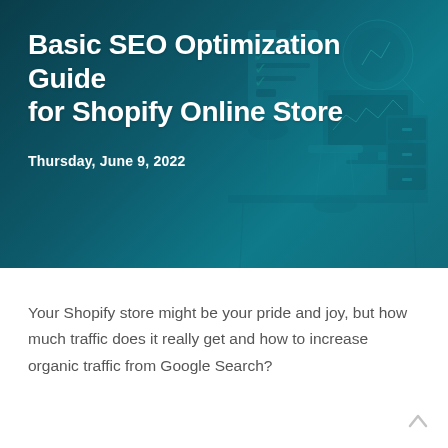[Figure (illustration): Hero banner with teal/dark teal gradient background and faint illustration of desk workspace with clipboard, magnifying glass, computer monitor, desk lamp, and filing cabinet]
Basic SEO Optimization Guide for Shopify Online Store
Thursday, June 9, 2022
Your Shopify store might be your pride and joy, but how much traffic does it really get and how to increase organic traffic from Google Search?